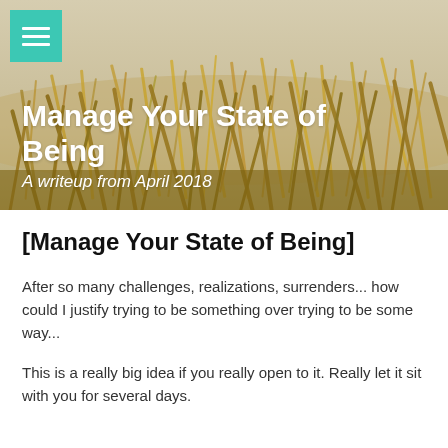[Figure (photo): Hero banner image of golden grass/dunes with beige sky background]
Manage Your State of Being
A writeup from April 2018
[Manage Your State of Being]
After so many challenges, realizations, surrenders... how could I justify trying to be something over trying to be some way...
This is a really big idea if you really open to it. Really let it sit with you for several days.